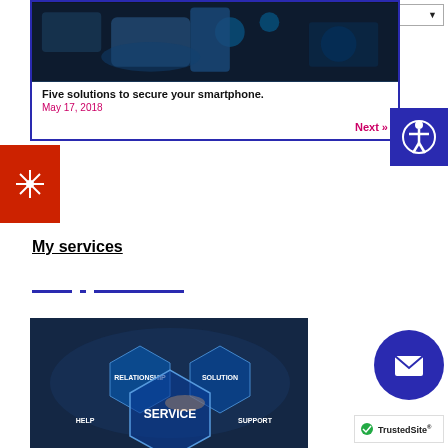[Figure (screenshot): Website screenshot showing a blog post card with smartphone image, title 'Five solutions to secure your smartphone.', date 'May 17, 2018', and 'Next »' link inside a blue-bordered card]
Five solutions to secure your smartphone.
May 17, 2018
Next »
My services
[Figure (photo): Service image showing hexagonal icons with text: RELATIONSHIP, SOLUTION, HELP, SERVICE, SUPPORT on a dark blue background with a person's hand]